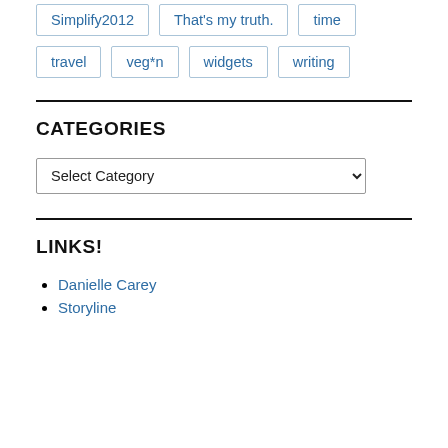Simplify2012
That's my truth.
time
travel
veg*n
widgets
writing
CATEGORIES
Select Category
LINKS!
Danielle Carey
Storyline